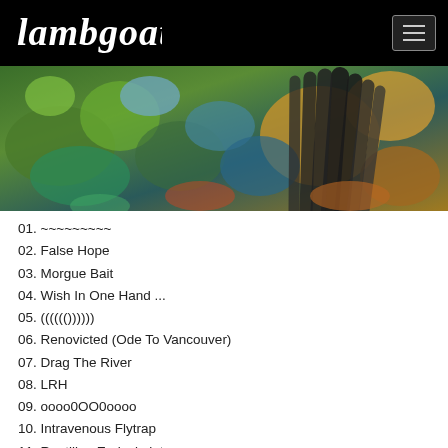Lambgoat
[Figure (photo): Album art: colorful abstract image with feathers or fan-like structures amid vibrant greens, blues, yellows and oranges]
01. ~~~~~~~~~
02. False Hope
03. Morgue Bait
04. Wish In One Hand ...
05. (((((())))))
06. Renovicted (Ode To Vancouver)
07. Drag The River
08. LRH
09. oooo0OO0oooo
10. Intravenous Flytrap
11. Reptilian Endoskeleton